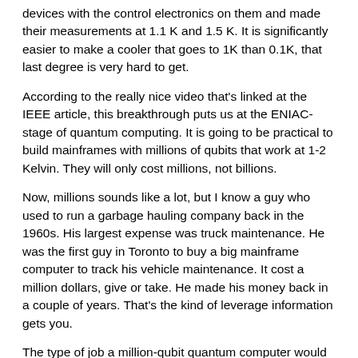devices with the control electronics on them and made their measurements at 1.1 K and 1.5 K. It is significantly easier to make a cooler that goes to 1K than 0.1K, that last degree is very hard to get.
According to the really nice video that's linked at the IEEE article, this breakthrough puts us at the ENIAC-stage of quantum computing. It is going to be practical to build mainframes with millions of qubits that work at 1-2 Kelvin. They will only cost millions, not billions.
Now, millions sounds like a lot, but I know a guy who used to run a garbage hauling company back in the 1960s. His largest expense was truck maintenance. He was the first guy in Toronto to buy a big mainframe computer to track his vehicle maintenance. It cost a million dollars, give or take. He made his money back in a couple of years. That's the kind of leverage information gets you.
The type of job a million-qubit quantum computer would be able to do is decode the protein coat on a Coronoa virus. Like, fast. Minutes, not weeks.